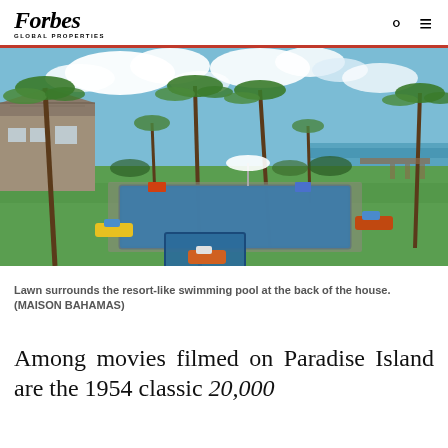Forbes Global Properties
[Figure (photo): Aerial/ground-level view of a resort-style swimming pool surrounded by lawn, palm trees, and a villa with thatched roof on the left, ocean visible in the background. Colorful lounge chairs around the pool deck.]
Lawn surrounds the resort-like swimming pool at the back of the house. (MAISON BAHAMAS)
Among movies filmed on Paradise Island are the 1954 classic 20,000 Leagues Under the Sea. Thunderball,